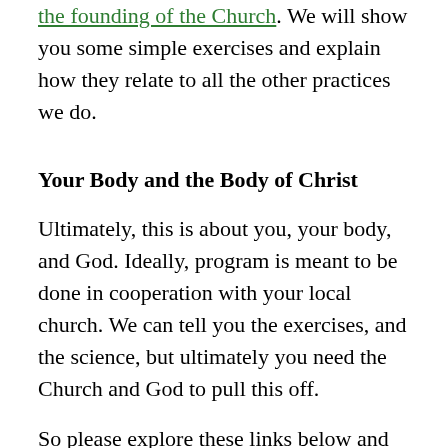the founding of the Church. We will show you some simple exercises and explain how they relate to all the other practices we do.
Your Body and the Body of Christ
Ultimately, this is about you, your body, and God. Ideally, program is meant to be done in cooperation with your local church. We can tell you the exercises, and the science, but ultimately you need the Church and God to pull this off.
So please explore these links below and come to PraXis with us.
In XP